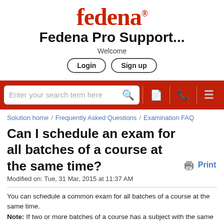[Figure (logo): Fedena logo in red/orange color with registered trademark symbol]
Fedena Pro Support...
Welcome
Login  Sign up
[Figure (screenshot): Red search bar with search input field, search icon, and navigation icons for documents, phone, and menu]
Solution home / Frequently Asked Questions / Examination FAQ
Can I schedule an exam for all batches of a course at the same time?
Modified on: Tue, 31 Mar, 2015 at 11:37 AM
You can schedule a common exam for all batches of a course at the same time.
Note: If two or more batches of a course has a subject with the same subject code, then the subject is only listed once when scheduling the